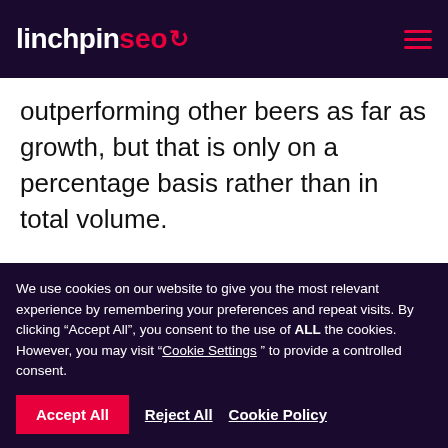linchpinseo
outperforming other beers as far as growth, but that is only on a percentage basis rather than in total volume.
Part of the reason for the increase in popularity is the fact that the selection of sours is becoming more diverse as time
We use cookies on our website to give you the most relevant experience by remembering your preferences and repeat visits. By clicking “Accept All”, you consent to the use of ALL the cookies. However, you may visit “Cookie Settings ” to provide a controlled consent.
Accept All  Reject All  Cookie Policy